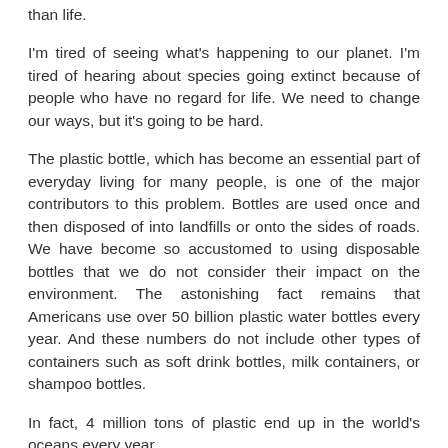than life.
I'm tired of seeing what's happening to our planet. I'm tired of hearing about species going extinct because of people who have no regard for life. We need to change our ways, but it's going to be hard.
The plastic bottle, which has become an essential part of everyday living for many people, is one of the major contributors to this problem. Bottles are used once and then disposed of into landfills or onto the sides of roads. We have become so accustomed to using disposable bottles that we do not consider their impact on the environment. The astonishing fact remains that Americans use over 50 billion plastic water bottles every year. And these numbers do not include other types of containers such as soft drink bottles, milk containers, or shampoo bottles.
In fact, 4 million tons of plastic end up in the world's oceans every year.
Your waste habits are costing you money, but more importantly, they're harming the environment. According to the U.S. Environmental Protection Agency, more than 30 million tons of plastic end up in landfills each year in this